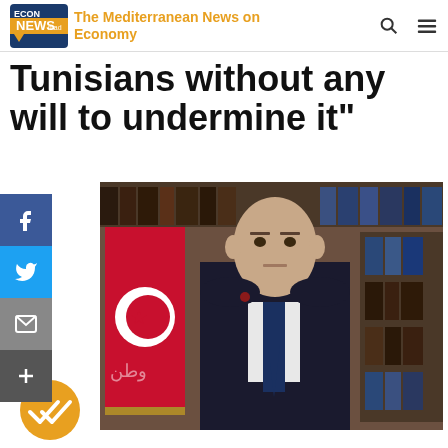The Mediterranean News on Economy
Tunisians without any will to undermine it"
[Figure (photo): Man in dark suit with blue tie standing in front of Tunisian flag and bookshelves]
[Figure (other): Yellow circle with double checkmark icon at bottom left]